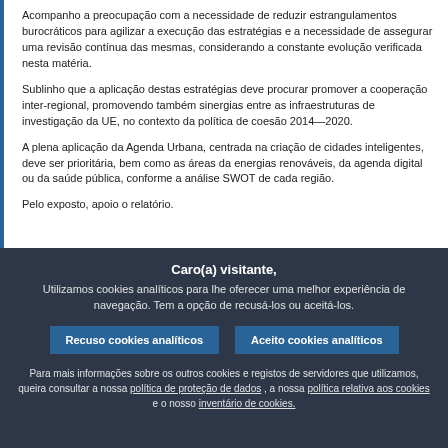Acompanho a preocupação com a necessidade de reduzir estrangulamentos burocráticos para agilizar a execução das estratégias e a necessidade de assegurar uma revisão contínua das mesmas, considerando a constante evolução verificada nesta matéria.
Sublinho que a aplicação destas estratégias deve procurar promover a cooperação inter-regional, promovendo também sinergias entre as infraestruturas de investigação da UE, no contexto da política de coesão 2014—2020.
A plena aplicação da Agenda Urbana, centrada na criação de cidades inteligentes, deve ser prioritária, bem como as áreas das energias renováveis, da agenda digital ou da saúde pública, conforme a análise SWOT de cada região.
Pelo exposto, apoio o relatório.
Caro(a) visitante, Utilizamos cookies analíticos para lhe oferecer uma melhor experiência de navegação. Tem a opção de recusá-los ou aceitá-los.
Recuso cookies analíticos | Aceito cookies analíticos
Para mais informações sobre os outros cookies e registos de servidores que utilizamos, queira consultar a nossa política de proteção de dados , a nossa política relativa aos cookies e o nosso inventário de cookies.